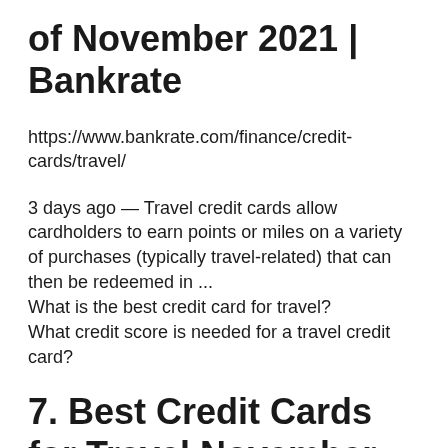of November 2021 | Bankrate
https://www.bankrate.com/finance/credit-cards/travel/
3 days ago — Travel credit cards allow cardholders to earn points or miles on a variety of purchases (typically travel-related) that can then be redeemed in ...
What is the best credit card for travel?
What credit score is needed for a travel credit card?
7. Best Credit Cards for Travel November 2021: Earn Rewards